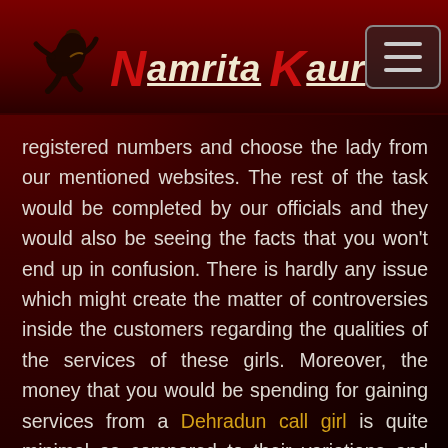Namrita Kaur
registered numbers and choose the lady from our mentioned websites. The rest of the task would be completed by our officials and they would also be seeing the facts that you won't end up in confusion. There is hardly any issue which might create the matter of controversies inside the customers regarding the qualities of the services of these girls. Moreover, the money that you would be spending for gaining services from a Dehradun call girl is quite minimal as compared to their variations and qualities.